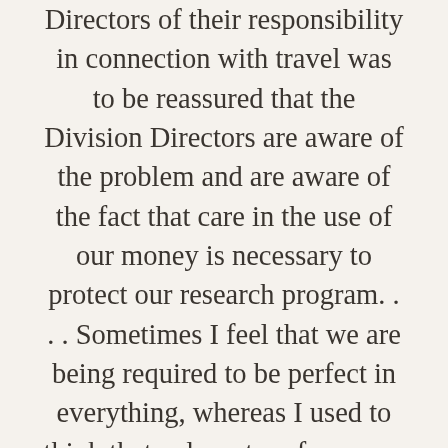Directors of their responsibility in connection with travel was to be reassured that the Division Directors are aware of the problem and are aware of the fact that care in the use of our money is necessary to protect our research program. . . . Sometimes I feel that we are being required to be perfect in everything, whereas I used to think that a decent performance in research might be enough to earn us our bread and butter.